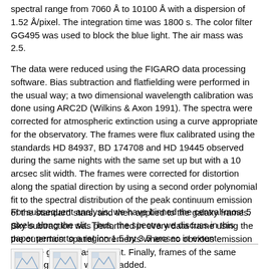spectral range from 7060 Å to 10100 Å with a dispersion of 1.52 Å/pixel. The integration time was 1800 s. The color filter GG495 was used to block the blue light. The air mass was 2.5.
The data were reduced using the FIGARO data processing software. Bias subtraction and flatfielding were performed in the usual way; a two dimensional wavelength calibration was done using ARC2D (Wilkins & Axon 1991). The spectra were corrected for atmospheric extinction using a curve appropriate for the observatory. The frames were flux calibrated using the standards HD 84937, BD 174708 and HD 19445 observed during the same nights with the same set up but with a 10 arcsec slit width. The frames were corrected for distortion along the spatial direction by using a second order polynomial fit to the spectral distribution of the peak continuum emission of the standard stars, and then applied to the galaxy frames. Sky subtraction was performed in every data frame using the the outermost spatial increments where no obvious emission from the galaxy was present. Finally, frames of the same wavelength range were co-added.
For subsequent analysis, we have binned the central-most 5 pixels along the slit. Thus, the spectra we discuss in this paper pertain to a region 1.5 by 3.5 arcsec in extent.
[Figure (illustration): Three small icon images in a row at the bottom of the page]